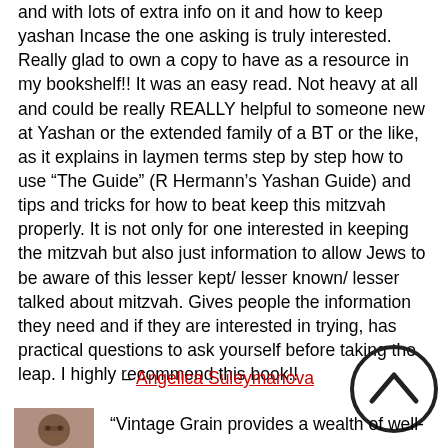and with lots of extra info on it and how to keep yashan Incase the one asking is truly interested. Really glad to own a copy to have as a resource in my bookshelf!! It was an easy read. Not heavy at all and could be really REALLY helpful to someone new at Yashan or the extended family of a BT or the like, as it explains in laymen terms step by step how to use “The Guide” (R Hermann’s Yashan Guide) and tips and tricks for how to beat keep this mitzvah properly. It is not only for one interested in keeping the mitzvah but also just information to allow Jews to be aware of this lesser kept/ lesser known/ lesser talked about mitzvah. Gives people the information they need and if they are interested in trying, has practical questions to ask yourself before taking the leap. I highly recommend this book!!
– Angelica Suleymanova
[Figure (photo): Small avatar photo of a person]
"Vintage Grain provides a wealth of well-